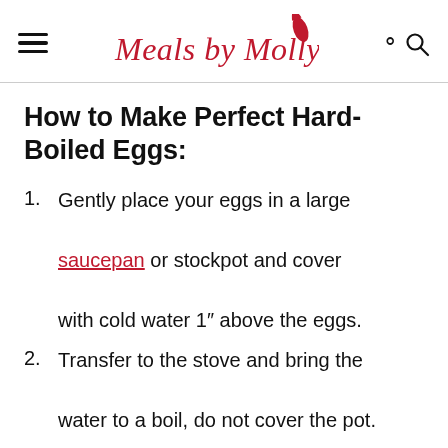Meals by Molly
How to Make Perfect Hard-Boiled Eggs:
Gently place your eggs in a large saucepan or stockpot and cover with cold water 1" above the eggs.
Transfer to the stove and bring the water to a boil, do not cover the pot. Have your timer ready and start the